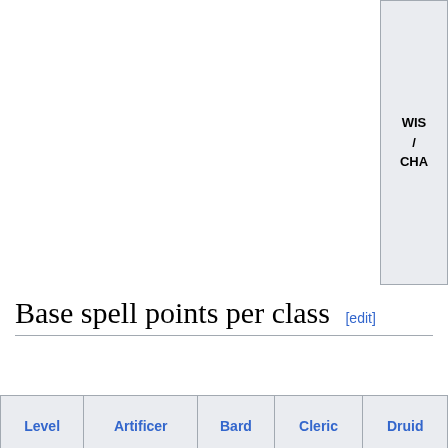| Casting ability / Bonus spell points | INT | CHA | WIS | WIS | WIS / CHA | W... |
| --- | --- | --- | --- | --- | --- | --- |
Base spell points per class [edit]
| Level | Artificer | Bard | Cleric | Druid | ... |
| --- | --- | --- | --- | --- | --- |
| 1 | 50 | 50 | 50 | 50 |
| 2 | 75 | 75 | 75 | 75 |
| 3 | 100 | 100 | 100 | 100 |
| 4 | 125 | 125 | 125 | 125 |
| 5 | 150 | 150 | 150 | 150 |
| 6 | 180 | 175 | 180 | 180 |